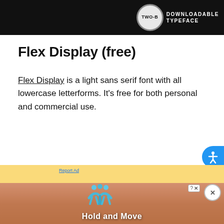[Figure (screenshot): Dark banner with circular badge reading TWO-B and DOWNLOADABLE TYPEFACE text in white on dark background]
Flex Display (free)
Flex Display is a light sans serif font with all lowercase letterforms. It's free for both personal and commercial use.
[Figure (screenshot): Yellow advertisement block with Hold and Move game ad, blue cartoon figures, close buttons and Report Ad link]